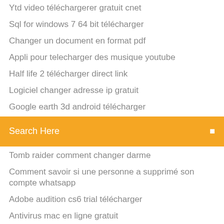Ytd video téléchargerer gratuit cnet
Sql for windows 7 64 bit télécharger
Changer un document en format pdf
Appli pour telecharger des musique youtube
Half life 2 télécharger direct link
Logiciel changer adresse ip gratuit
Google earth 3d android télécharger
Search Here
Tomb raider comment changer darme
Comment savoir si une personne a supprimé son compte whatsapp
Adobe audition cs6 trial télécharger
Antivirus mac en ligne gratuit
Transformer un fichier wma en mp3 pour mac
Ripper dvd avec mac
Site pour voir des films en entier gratuitement
The guild 2 maps télécharger
Blackmagic disk speed test windows 10 64 bit télécharger